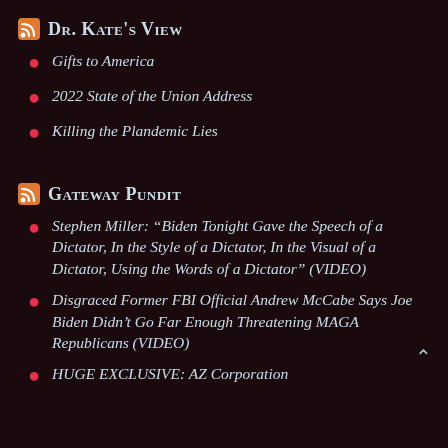Dr. Kate's View
Gifts to America
2022 State of the Union Address
Killing the Plandemic Lies
Gateway Pundit
Stephen Miller: “Biden Tonight Gave the Speech of a Dictator, In the Style of a Dictator, In the Visual of a Dictator, Using the Words of a Dictator” (VIDEO)
Disgraced Former FBI Official Andrew McCabe Says Joe Biden Didn’t Go Far Enough Threatening MAGA Republicans (VIDEO)
HUGE EXCLUSIVE: AZ Corporation